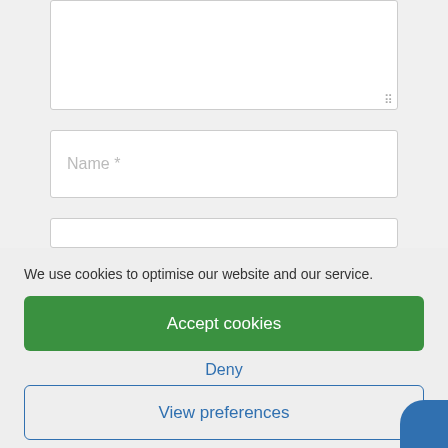[Figure (screenshot): A web form with a textarea input field (empty, with resize handle), a Name * text input field with placeholder text, and a partially visible third input field below.]
We use cookies to optimise our website and our service.
Accept cookies
Deny
View preferences
Cookie Policy